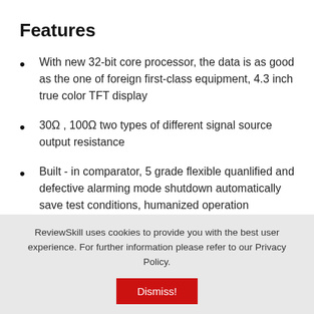Features
With new 32-bit core processor, the data is as good as the one of foreign first-class equipment, 4.3 inch true color TFT display
30Ω , 100Ω two types of different signal source output resistance
Built - in comparator, 5 grade flexible quanlified and defective alarming mode shutdown automatically save test conditions, humanized operation
ReviewSkill uses cookies to provide you with the best user experience. For further information please refer to our Privacy Policy.